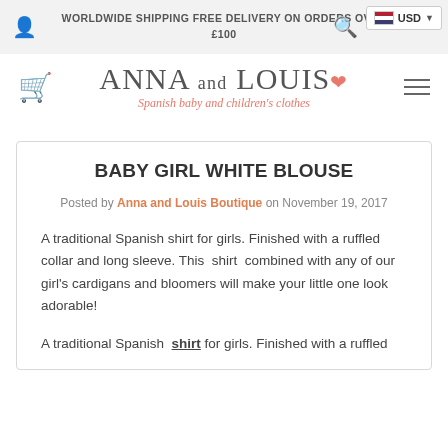WORLDWIDE SHIPPING FREE DELIVERY ON ORDERS OVER £100
ANNA AND LOUIS
Spanish baby and children's clothes
BABY GIRL WHITE BLOUSE
Posted by Anna and Louis Boutique on November 19, 2017
A traditional Spanish shirt for girls. Finished with a ruffled collar and long sleeve. This shirt combined with any of our girl's cardigans and bloomers will make your little one look adorable!
A traditional Spanish shirt for girls. Finished with a ruffled